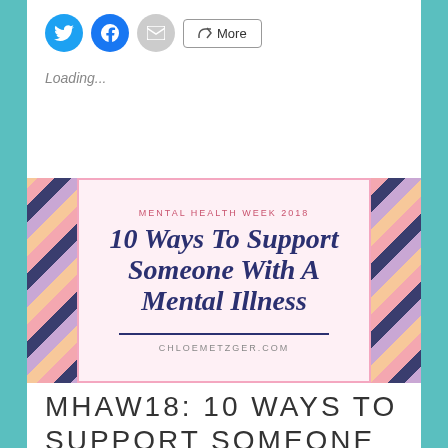[Figure (screenshot): Social share buttons: Twitter (blue circle), Facebook (blue circle), Email (grey circle), and a More button with share icon]
Loading...
[Figure (infographic): Blog post banner image with diagonal stripes on left and right sides. Center reads: MENTAL HEALTH WEEK 2018 / 10 WAYS TO SUPPORT SOMEONE WITH A MENTAL ILLNESS / CHLOEMETZGER.COM]
MHAW18: 10 WAYS TO SUPPORT SOMEONE WITH A MENTAL ILLNESS